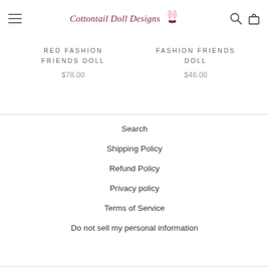Cottontail Doll Designs
RED FASHION FRIENDS DOLL
$78.00
FASHION FRIENDS DOLL
$46.00
Search
Shipping Policy
Refund Policy
Privacy policy
Terms of Service
Do not sell my personal information